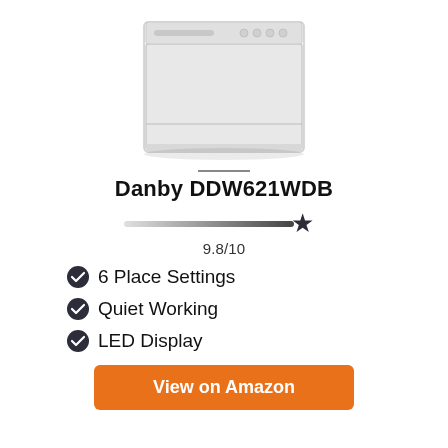[Figure (photo): White countertop dishwasher (Danby DDW621WDB) product photo shown from front angle]
Danby DDW621WDB
[Figure (infographic): Rating indicator bar with star icon showing 9.8/10 score]
9.8/10
6 Place Settings
Quiet Working
LED Display
View on Amazon